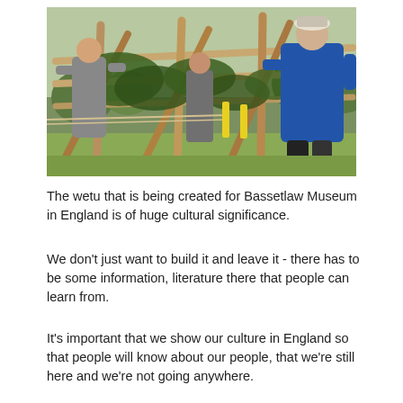[Figure (photo): People constructing a wooden frame structure outdoors, threading leafy green branches through horizontal wooden poles. One person in a blue shirt is visible on the right, another in grey on the left. The setting appears to be a grassy outdoor area.]
The wetu that is being created for Bassetlaw Museum in England is of huge cultural significance.
We don't just want to build it and leave it - there has to be some information, literature there that people can learn from.
It's important that we show our culture in England so that people will know about our people, that we're still here and we're not going anywhere.